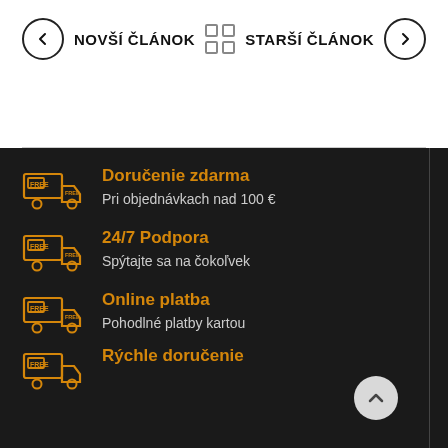NOVŠÍ ČLÁNOK | STARŠÍ ČLÁNOK
Doručenie zdarma
Pri objednávkach nad 100 €
24/7 Podpora
Spýtajte sa na čokoľvek
Online platba
Pohodlné platby kartou
Rýchle doručenie